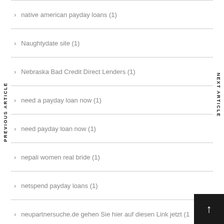native american payday loans (1)
Naughtydate site (1)
Nebraska Bad Credit Direct Lenders (1)
need a payday loan now (1)
need payday loan now (1)
nepali women real bride (1)
netspend payday loans (1)
neupartnersuche.de gehen Sie hier auf diesen Link jetzt (1